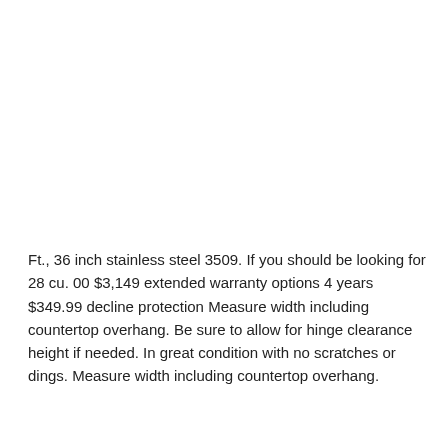Ft., 36 inch stainless steel 3509. If you should be looking for 28 cu. 00 $3,149 extended warranty options 4 years $349.99 decline protection Measure width including countertop overhang. Be sure to allow for hinge clearance height if needed. In great condition with no scratches or dings. Measure width including countertop overhang.